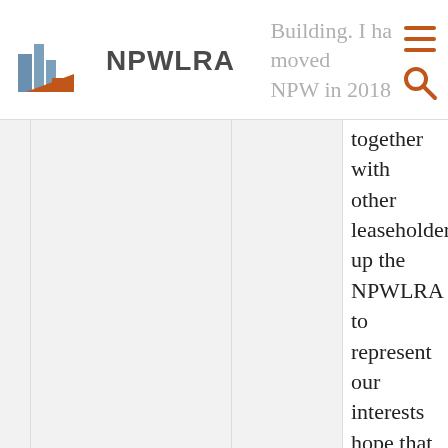NPWLRA
Building. I ha moved NPW in 2018 together with other leaseholders up the NPWLRA to represent our interests hope that my experience in both residential and commercial property sector combined with my enthusiasm and drive to get things done properly and